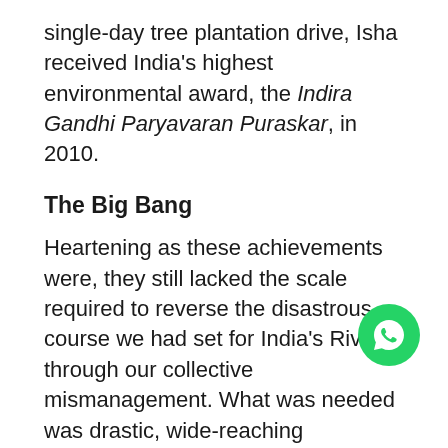single-day tree plantation drive, Isha received India's highest environmental award, the Indira Gandhi Paryavaran Puraskar, in 2010.
The Big Bang
Heartening as these achievements were, they still lacked the scale required to reverse the disastrous course we had set for India's Rivers through our collective mismanagement. What was needed was drastic, wide-reaching awareness, a redirection of National Policy and urgent action on the ground. Sadhguru stepped forward to inspire this revolution. In 2017, leading the month-long 'Rally for Rivers' through 16 Indian states governed by parties